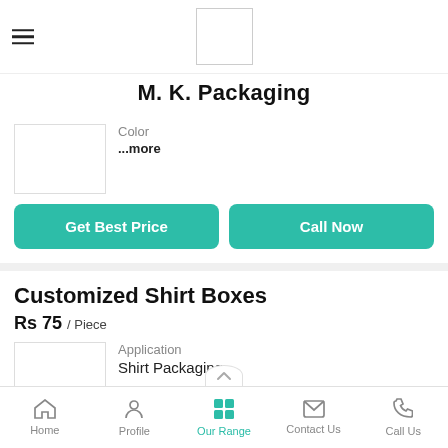[Figure (logo): M. K. Packaging logo placeholder box]
M. K. Packaging
Color
...more
Get Best Price
Call Now
Customized Shirt Boxes
Rs 75 / Piece
Application
Shirt Packaging
Home   Profile   Our Range   Contact Us   Call Us